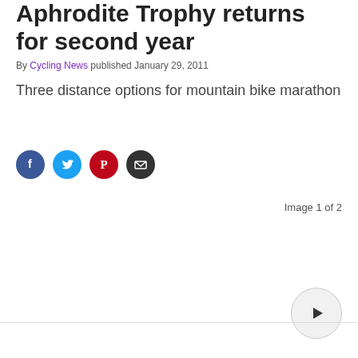Aphrodite Trophy returns for second year
By Cycling News published January 29, 2011
Three distance options for mountain bike marathon
[Figure (other): Social share icons: Facebook, Twitter, Pinterest, Email]
Image 1 of 2
[Figure (other): Play button circle icon for image gallery navigation]